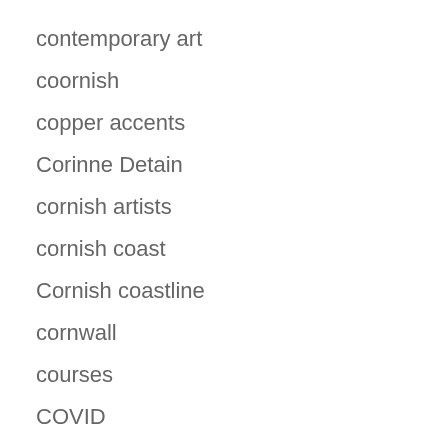contemporary art
coornish
copper accents
Corinne Detain
cornish artists
cornish coast
Cornish coastline
cornwall
courses
COVID
COVID 19
COVID lockdown
craftman
craftsmen